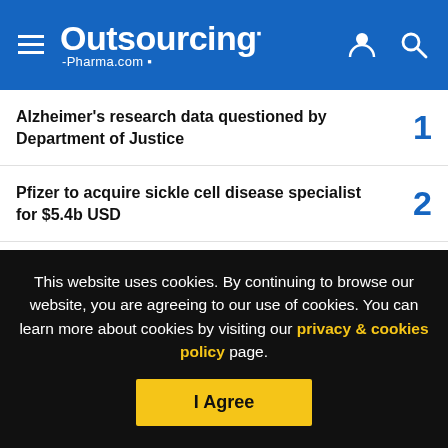Outsourcing-Pharma.com
Alzheimer's research data questioned by Department of Justice 1
Pfizer to acquire sickle cell disease specialist for $5.4b USD 2
UPS acquires multi-national healthcare logistics company Bomi 3
Merck partners with Cerevance on Alzheimer's research initiative 4
This website uses cookies. By continuing to browse our website, you are agreeing to our use of cookies. You can learn more about cookies by visiting our privacy & cookies policy page.